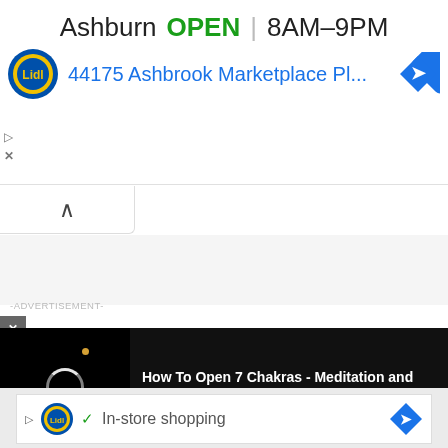[Figure (screenshot): Top Google Ads banner for Lidl store in Ashburn showing OPEN status, hours 8AM-9PM, address 44175 Ashbrook Marketplace Pl..., Lidl logo, and navigation diamond icon]
Ashburn   OPEN   8AM–9PM
44175 Ashbrook Marketplace Pl...
^
-ADVERTISEMENT-
[Figure (screenshot): Video player with black background showing loading circle and small dot, with title text: How To Open 7 Chakras - Meditation and Healing - SunSigns.Org]
How To Open 7 Chakras - Meditation and Healing - SunSigns.Org
[Figure (screenshot): Bottom Google Ads banner for Lidl with checkmark, In-store shopping text, Lidl logo, and navigation diamond icon]